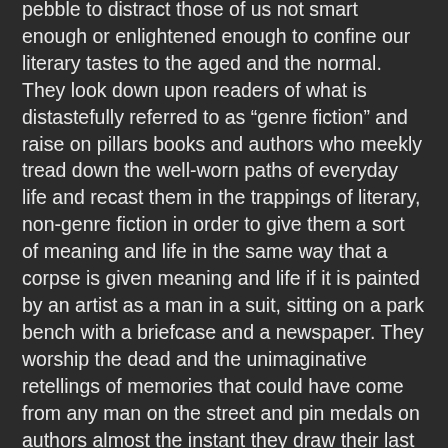pebble to distract those of us not smart enough or enlightened enough to confine our literary tastes to the aged and the normal. They look down upon readers of what is distastefully referred to as “genre fiction” and raise on pillars books and authors who meekly tread down the well-worn paths of everyday life and recast them in the trappings of literary, non-genre fiction in order to give them a sort of meaning and life in the same way that a corpse is given meaning and life if it is painted by an artist as a man in a suit, sitting on a park bench with a briefcase and a newspaper. They worship the dead and the unimaginative retellings of memories that could have come from any man on the street and pin medals on authors almost the instant they draw their last breaths. Literature, as a singular non-genre category into which the books favored by the bourgeois fall, is sick and bland, is a slow, suffocating death stamped out in print.
It does, however, have one redeeming quality– the messages, the concepts, and the life meanings it imparts in the reading. Literature is the bare bones of reality and life, of concept and meaning, an ominous skeleton presented naked before a crowd, with just enough skin to show that it once